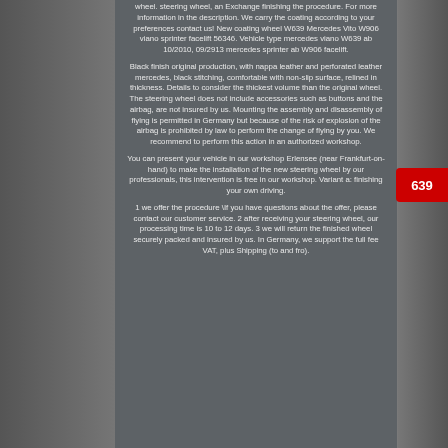wheel. steering wheel, an Exchange finishing the procedure. For more information in the description. We carry the coating according to your preferences contact us! New coating wheel W639 Mercedes Vito W906 viano sprinter facelift 56346. Vehicle type mercedes viano W639 ab 10/2010, 09/2913 mercedes sprinter ab W906 facelift.
Black finish original production, with nappa leather and perforated leather mercedes, black stitching, comfortable with non-slip surface, relined in thickness. Details to consider the thickest volume than the original wheel. The steering wheel does not include accessories such as buttons and the airbag, are not insured by us. Mounting the assembly and disassembly of flying is permitted in Germany but because of the risk of explosion of the airbag is prohibited by law to perform the change of flying by you. We recommend to perform this action in an authorized workshop.
You can present your vehicle in our workshop Erlensee (near Frankfurt-on-hand) to make the installation of the new steering wheel by our professionals, this intervention is free in our workshop. Variant a: finishing your own driving.
1 we offer the procedure \If you have questions about the offer, please contact our customer service. 2 after receiving your steering wheel, our processing time is 10 to 12 days. 3 we will return the finished wheel securely packed and insured by us. In Germany, we support the full fee VAT, plus Shipping (to and fro).